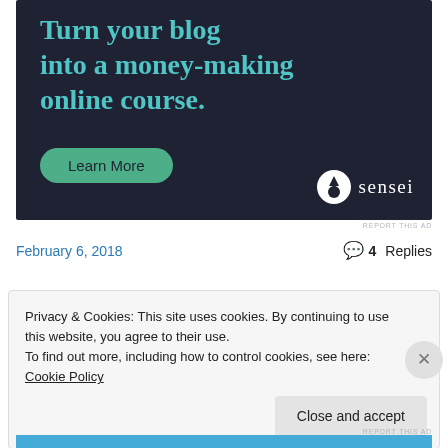[Figure (infographic): Dark navy advertisement banner for Sensei with headline 'Turn your blog into a money-making online course.' and a green 'Learn More' button, with the Sensei logo (white circle with tree icon) at the bottom right.]
REPORT THIS AD
February 6, 2018
4 Replies
Privacy & Cookies: This site uses cookies. By continuing to use this website, you agree to their use.
To find out more, including how to control cookies, see here: Cookie Policy
Close and accept